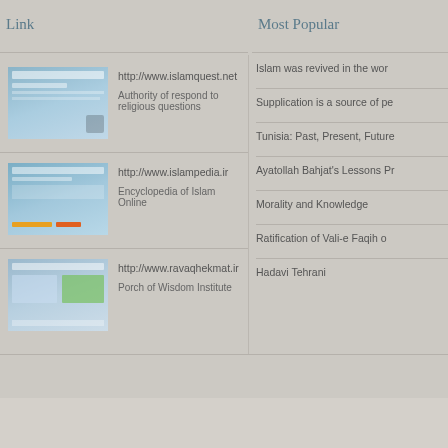Link
Most Popular
http://www.islamquest.net
Authority of respond to religious questions
http://www.islampedia.ir
Encyclopedia of Islam Online
http://www.ravaqhekmat.ir
Porch of Wisdom Institute
Islam was revived in the wor...
Supplication is a source of pe...
Tunisia: Past, Present, Future...
Ayatollah Bahjat's Lessons Pr...
Morality and Knowledge
Ratification of Vali-e Faqih o...
Hadavi Tehrani
Rss نمایش
Developed by NN Af...